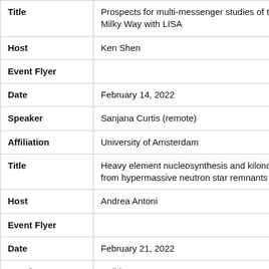| Field | Value |
| --- | --- |
| Title | Prospects for multi-messenger studies of the Milky Way with LISA |
| Host | Ken Shen |
| Event Flyer |  |
| Date | February 14, 2022 |
| Speaker | Sanjana Curtis (remote) |
| Affiliation | University of Amsterdam |
| Title | Heavy element nucleosynthesis and kilonovae from hypermassive neutron star remnants |
| Host | Andrea Antoni |
| Event Flyer |  |
| Date | February 21, 2022 |
| Speaker | Holiday |